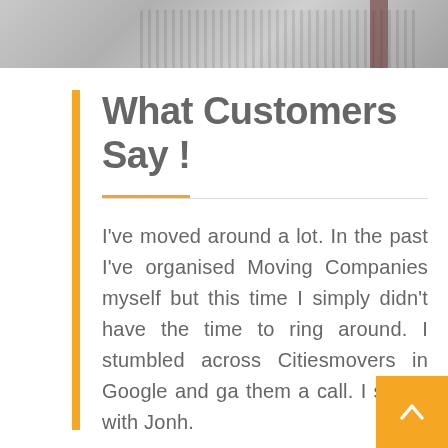[Figure (photo): Partial photo of what appears to be a grey fabric or clothing item with zipper detail and a dark red/maroon element, shown as a cropped strip at the top of the page.]
What Customers Say !
I've moved around a lot. In the past I've organised Moving Companies myself but this time I simply didn't have the time to ring around. I stumbled across Citiesmovers in Google and ga them a call. I spoke with Jonh.